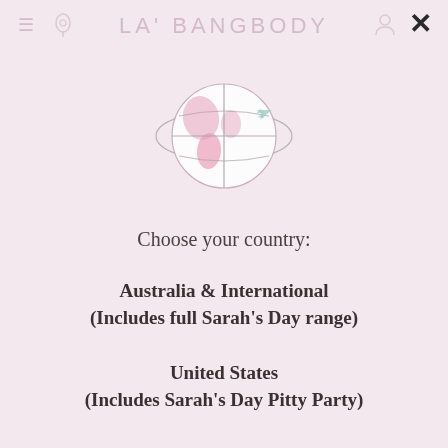LA' BANGBODY
[Figure (illustration): Globe icon with pink continents, crosshair lines, and a small airplane flying around it, on a light pink background.]
Choose your country:
Australia & International
(Includes full Sarah’s Day range)
United States
(Includes Sarah’s Day Pitty Party)